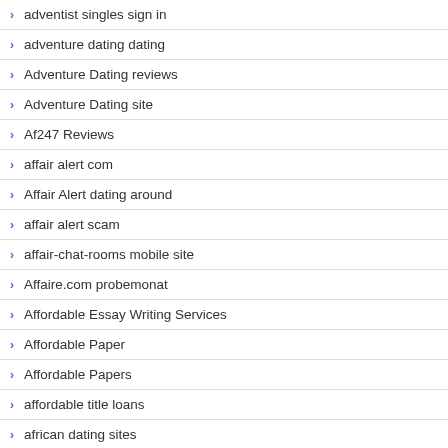adventist singles sign in
adventure dating dating
Adventure Dating reviews
Adventure Dating site
Af247 Reviews
affair alert com
Affair Alert dating around
affair alert scam
affair-chat-rooms mobile site
Affaire.com probemonat
Affordable Essay Writing Services
Affordable Paper
Affordable Papers
affordable title loans
african dating sites